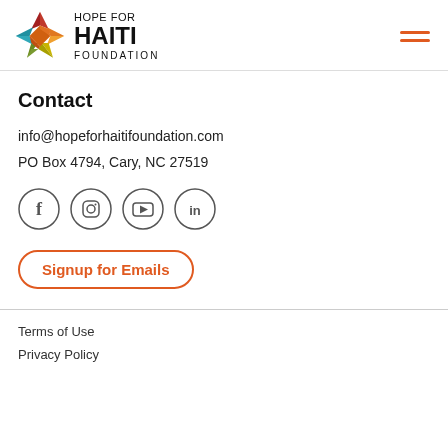Hope for Haiti Foundation
Contact
info@hopeforhaitifoundation.com
PO Box 4794, Cary, NC 27519
[Figure (infographic): Social media icons: Facebook, Instagram, YouTube, LinkedIn — each inside a circle outline]
Signup for Emails
Terms of Use
Privacy Policy